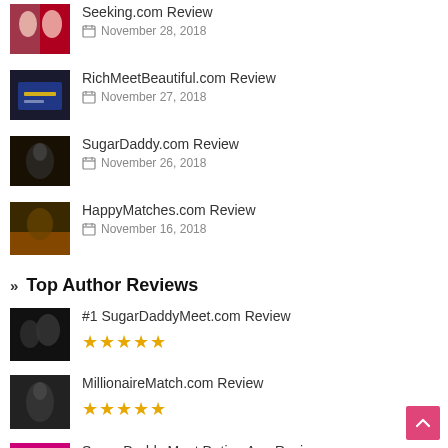Seeking.com Review — November 28, 2018
RichMeetBeautiful.com Review — November 27, 2018
SugarDaddy.com Review — November 26, 2018
HappyMatches.com Review — November 16, 2018
Top Author Reviews
#1 SugarDaddyMeet.com Review ★★★★★
MillionaireMatch.com Review ★★★★★
Sugar Daddy Meet Dating App Reviews